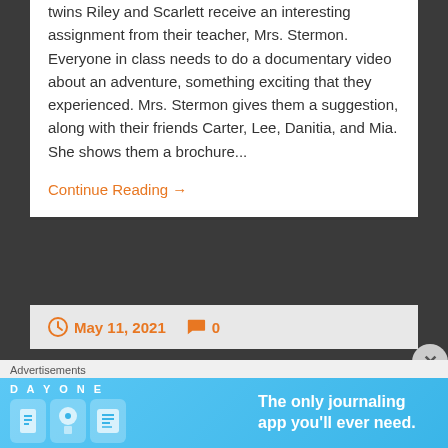twins Riley and Scarlett receive an interesting assignment from their teacher, Mrs. Stermon. Everyone in class needs to do a documentary video about an adventure, something exciting that they experienced. Mrs. Stermon gives them a suggestion, along with their friends Carter, Lee, Danitia, and Mia. She shows them a brochure...
Continue Reading →
May 11, 2021   0
Goosebumps Slappyworld:
[Figure (infographic): Day One journaling app advertisement banner with blue gradient background showing app icons and text 'The only journaling app you'll ever need.']